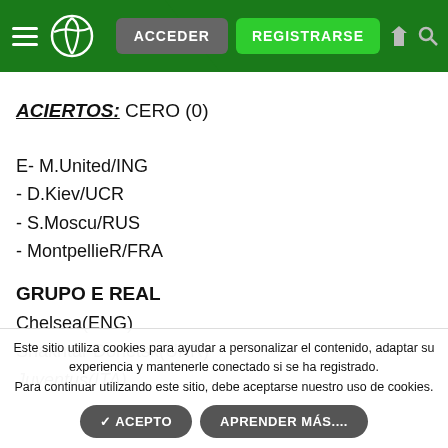ACCEDER  REGISTRARSE
ACIERTOS: CERO (0)
E- M.United/ING
- D.Kiev/UCR
- S.Moscu/RUS
- MontpellieR/FRA
GRUPO E REAL
Chelsea(ENG)
Shakhtar Donetsk(UKR)
Juventus(ITA)
Este sitio utiliza cookies para ayudar a personalizar el contenido, adaptar su experiencia y mantenerle conectado si se ha registrado. Para continuar utilizando este sitio, debe aceptarse nuestro uso de cookies.
ACEPTO   APRENDER MÁS....